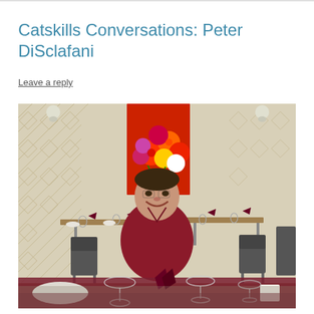Catskills Conversations: Peter DiSclafani
Leave a reply
[Figure (photo): A man in a red polo shirt sitting at a restaurant table, smiling at the camera. Behind him are several dining tables set with dark red napkins and glassware. A colorful floral painting hangs on the wall behind him. The walls have a geometric diamond pattern wallpaper.]